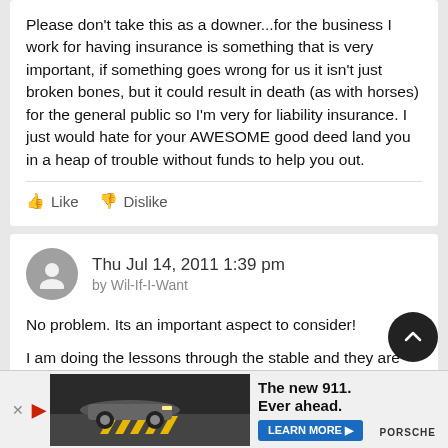Please don't take this as a downer...for the business I work for having insurance is something that is very important, if something goes wrong for us it isn't just broken bones, but it could result in death (as with horses) for the general public so I'm very for liability insurance. I just would hate for your AWESOME good deed land you in a heap of trouble without funds to help you out.
Like  Dislike
Thu Jul 14, 2011 1:39 pm
by Wil-If-I-Want
No problem. Its an important aspect to consider!
I am doing the lessons through the stable and they are insu equally have my own waiver of release which indicates that horseback riding is a dangerous sport that can result in death. I
[Figure (screenshot): Advertisement banner for Porsche 911 with car image, headline 'The new 911. Ever ahead.' and a Learn More button.]